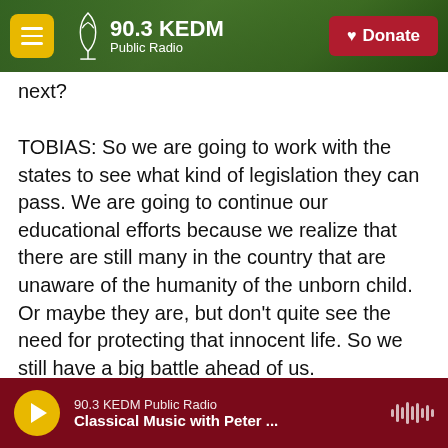90.3 KEDM Public Radio — Donate
next?
TOBIAS: So we are going to work with the states to see what kind of legislation they can pass. We are going to continue our educational efforts because we realize that there are still many in the country that are unaware of the humanity of the unborn child. Or maybe they are, but don't quite see the need for protecting that innocent life. So we still have a big battle ahead of us.
FLORIDO: What kind of abortion restrictions does your group, the NRLC, support, a total ban on
90.3 KEDM Public Radio — Classical Music with Peter ...